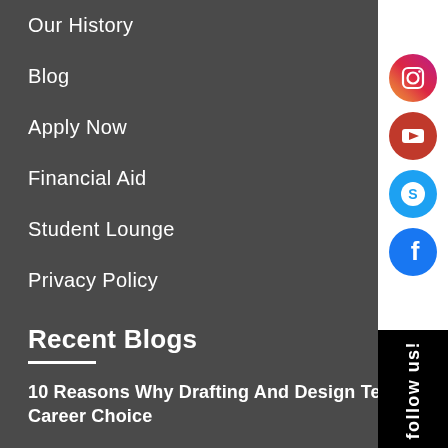Our History
Blog
Apply Now
Financial Aid
Student Lounge
Privacy Policy
Recent Blogs
10 Reasons Why Drafting And Design Technology Is A G... Career Choice
The Top 5 Things You Need To Know About Medical Bill... and Coding
7 High-Paying Jobs That Only Require A Process Techno... Certificate
[Figure (infographic): Social media sidebar with icons for Instagram, YouTube/Pinterest, a badge icon, and Facebook, plus a 'follow us!' vertical label on black background]